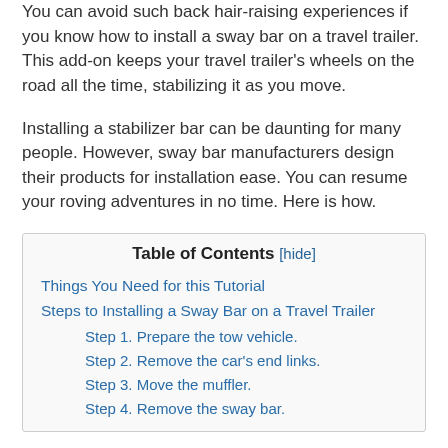You can avoid such back hair-raising experiences if you know how to install a sway bar on a travel trailer. This add-on keeps your travel trailer's wheels on the road all the time, stabilizing it as you move.
Installing a stabilizer bar can be daunting for many people. However, sway bar manufacturers design their products for installation ease. You can resume your roving adventures in no time. Here is how.
| Table of Contents |
| --- |
| Things You Need for this Tutorial |
| Steps to Installing a Sway Bar on a Travel Trailer |
| Step 1. Prepare the tow vehicle. |
| Step 2. Remove the car's end links. |
| Step 3. Move the muffler. |
| Step 4. Remove the sway bar. |